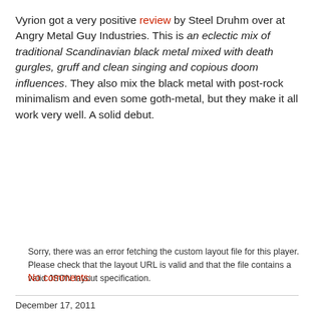Vyrion got a very positive review by Steel Druhm over at Angry Metal Guy Industries. This is an eclectic mix of traditional Scandinavian black metal mixed with death gurgles, gruff and clean singing and copious doom influences. They also mix the black metal with post-rock minimalism and even some goth-metal, but they make it all work very well. A solid debut.
Sorry, there was an error fetching the custom layout file for this player. Please check that the layout URL is valid and that the file contains a valid JSON layout specification.
No comments:
December 17, 2011